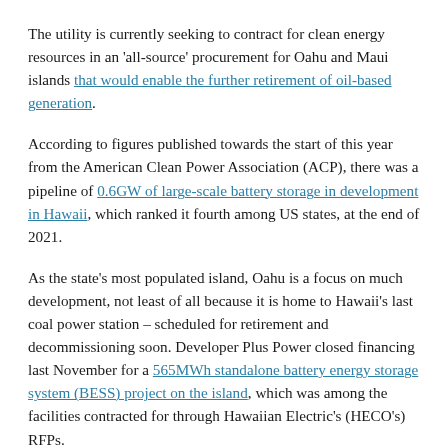The utility is currently seeking to contract for clean energy resources in an 'all-source' procurement for Oahu and Maui islands that would enable the further retirement of oil-based generation.
According to figures published towards the start of this year from the American Clean Power Association (ACP), there was a pipeline of 0.6GW of large-scale battery storage in development in Hawaii, which ranked it fourth among US states, at the end of 2021.
As the state's most populated island, Oahu is a focus on much development, not least of all because it is home to Hawaii's last coal power station – scheduled for retirement and decommissioning soon. Developer Plus Power closed financing last November for a 565MWh standalone battery energy storage system (BESS) project on the island, which was among the facilities contracted for through Hawaiian Electric's (HECO's) RFPs.